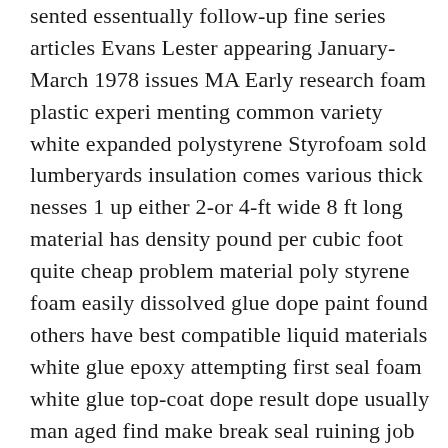sented essentually follow-up fine series articles Evans Lester appearing January-March 1978 issues MA Early research foam plastic experi menting common variety white expanded polystyrene Styrofoam sold lumberyards insulation comes various thick nesses 1 up either 2-or 4-ft wide 8 ft long material has density pound per cubic foot quite cheap problem material poly styrene foam easily dissolved glue dope paint found others have best compatible liquid materials white glue epoxy attempting first seal foam white glue top-coat dope result dope usually man aged find make break seal ruining job eating up foam Early attempts assumed structural rigidity required use supporting wooden structure Leading trailing edges spars some ribs therefore added foam core Besides being time-consuming adding weight expense such reinforcing structures found material future plank cast $270 will build several models new tech nique lightweight construction types modelsFF CL RCwhich